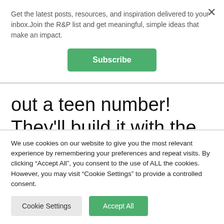Get the latest posts, resources, and inspiration delivered to your inbox.Join the R&P list and get meaningful, simple ideas that make an impact.
Subscribe
out a teen number! They'll build it with the base ten blocks and/or write it with the dry erase marker.
We use cookies on our website to give you the most relevant experience by remembering your preferences and repeat visits. By clicking “Accept All”, you consent to the use of ALL the cookies. However, you may visit “Cookie Settings” to provide a controlled consent.
Cookie Settings
Accept All